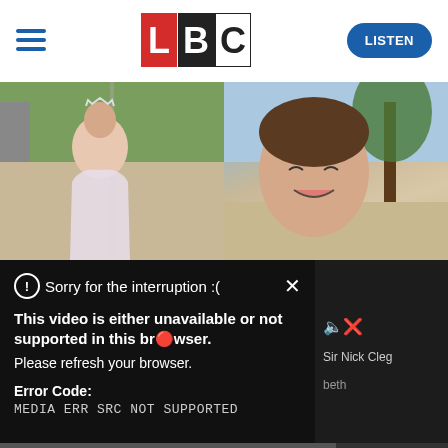[Figure (screenshot): LBC website header with hamburger menu, LBC logo, and LISTEN button]
[Figure (photo): Two photos side by side: left shows a young woman wearing a tiara/crown in formal dress, right shows a young woman smiling outdoors near a tree]
Sorry for the interruption :(
This video is either unavailable or not supported in this browser.
Please refresh your browser.
Error Code:
MEDIA ERR SRC NOT SUPPORTED
Sir Nick Cleg
beth